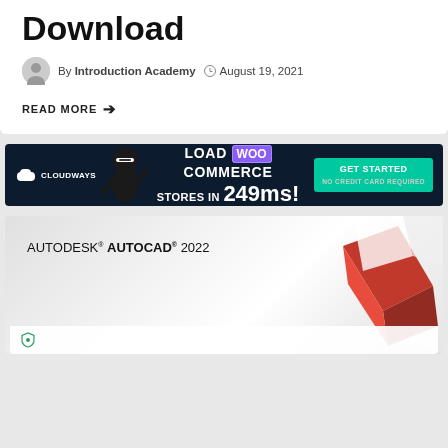Download
By Introduction Academy  August 19, 2021
READ MORE →
[Figure (screenshot): Cloudways banner ad: LOAD WOO COMMERCE STORES IN 249ms! GET STARTED — No Credit Card Required]
[Figure (screenshot): AUTODESK AUTOCAD 2022 product image with red 3D geometric shape on light background]